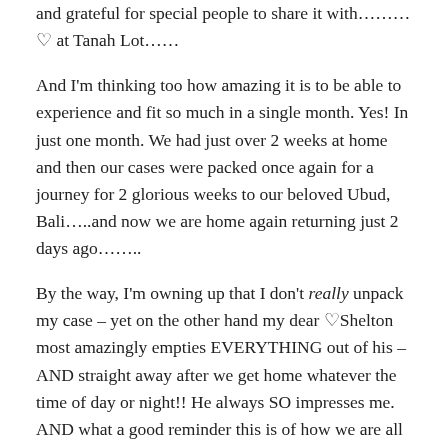and grateful for special people to share it with………♡ at Tanah Lot……
And I'm thinking too how amazing it is to be able to experience and fit so much in a single month. Yes! In just one month. We had just over 2 weeks at home and then our cases were packed once again for a journey for 2 glorious weeks to our beloved Ubud, Bali…..and now we are home again returning just 2 days ago……..
By the way, I'm owning up that I don't really unpack my case – yet on the other hand my dear ♡Shelton most amazingly empties EVERYTHING out of his – AND straight away after we get home whatever the time of day or night!! He always SO impresses me. AND what a good reminder this is of how we are all so different….and that there isn't a good or a bad way of doing things – just different…